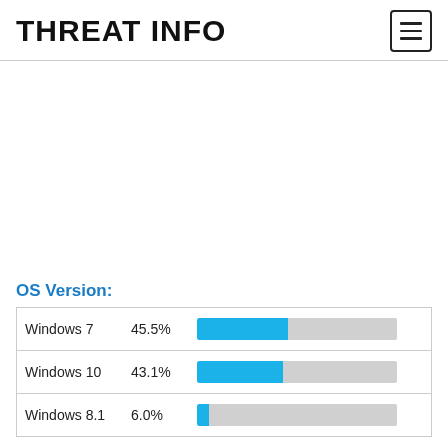THREAT INFO
OS Version:
[Figure (bar-chart): OS Version]